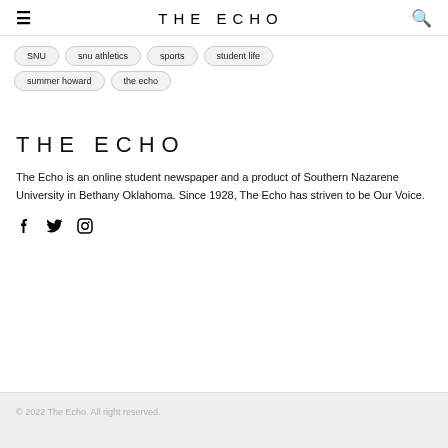THE ECHO
SNU
snu athletics
sports
student life
summer howard
the echo
THE ECHO
The Echo is an online student newspaper and a product of Southern Nazarene University in Bethany Oklahoma. Since 1928, The Echo has striven to be Our Voice.
[Figure (other): Social media icons: Facebook, Twitter, Instagram]
© 2022 The Echo. All right reserved.